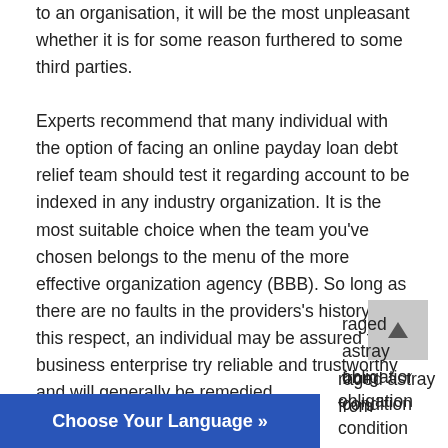to an organisation, it will be the most unpleasant whether it is for some reason furthered to some third parties.
Experts recommend that many individual with the option of facing an online payday loan debt relief team should test it regarding account to be indexed in any industry organization. It is the most suitable choice when the team you've chosen belongs to the menu of the more effective organization agency (BBB). So long as there are no faults in the providers's history in this respect, an individual may be assured that a business enterprise try reliable and trustworthy and will generally be remedied.
raged astray from obligation condition